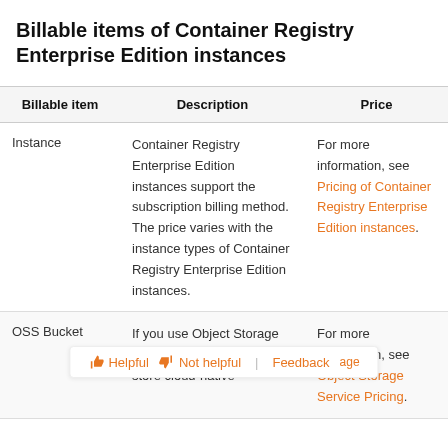Billable items of Container Registry Enterprise Edition instances
| Billable item | Description | Price |
| --- | --- | --- |
| Instance | Container Registry Enterprise Edition instances support the subscription billing method. The price varies with the instance types of Container Registry Enterprise Edition instances. | For more information, see Pricing of Container Registry Enterprise Edition instances. |
| OSS Bucket | If you use Object Storage Service (OSS) buckets to store cloud-native | For more information, see [OSS] Object Storage Service Pricing. |